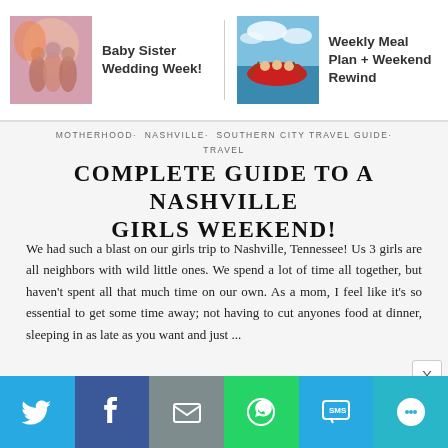[Figure (screenshot): Thumbnail for Baby Sister Wedding Week post - pink/orange tones with people]
Baby Sister Wedding Week!
[Figure (photo): Thumbnail for Weekly Meal Plan + Weekend Rewind post - river rafting with red raft]
Weekly Meal Plan + Weekend Rewind
MOTHERHOOD· NASHVILLE· SOUTHERN CITY TRAVEL GUIDE· TRAVEL
COMPLETE GUIDE TO A NASHVILLE GIRLS WEEKEND!
We had such a blast on our girls trip to Nashville, Tennessee! Us 3 girls are all neighbors with wild little ones. We spend a lot of time all together, but haven't spent all that much time on our own. As a mom, I feel like it's so essential to get some time away; not having to cut anyones food at dinner, sleeping in as late as you want and just ...
VIEW the POST